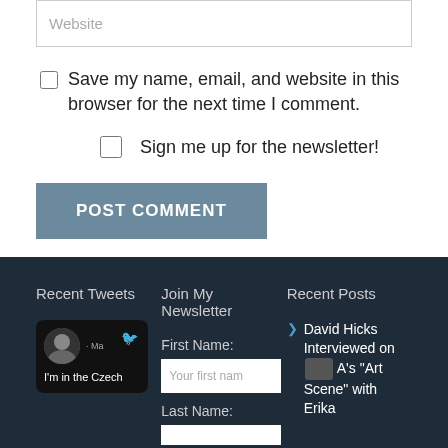Website
Save my name, email, and website in this browser for the next time I comment.
Sign me up for the newsletter!
POST COMMENT
Recent Tweets
Join My Newsletter
Recent Posts
First Name:
Your first name
Last Name:
I'm in the Czech
David Hicks Interviewed on A's "Art Scene" with Erika